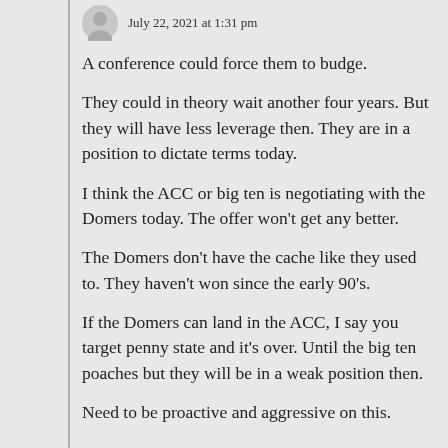July 22, 2021 at 1:31 pm
A conference could force them to budge.
They could in theory wait another four years. But they will have less leverage then. They are in a position to dictate terms today.
I think the ACC or big ten is negotiating with the Domers today. The offer won't get any better.
The Domers don't have the cache like they used to. They haven't won since the early 90's.
If the Domers can land in the ACC, I say you target penny state and it's over. Until the big ten poaches but they will be in a weak position then.
Need to be proactive and aggressive on this.